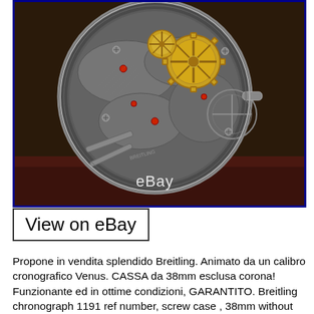[Figure (photo): Close-up photograph of a Breitling watch movement (calibre Venus chronograph). The movement shows exposed gears including prominent gold-colored gears, jewels, bridges, screws, and mechanical components visible through the case back. The watch case back is circular. In the lower center of the image there is an eBay watermark in white text. The image has a dark blue border.]
View on eBay
Propone in vendita splendido Breitling. Animato da un calibro cronografico Venus. CASSA da 38mm esclusa corona! Funzionante ed in ottime condizioni, GARANTITO. Breitling chronograph 1191 ref number, screw case , 38mm without crown , original crown, Venus movement. LOGGETTO CHE VEDETE IN FOTO È ESATTAMENTE QUELLO CHE VI ARRIVERÀ. SIAMO